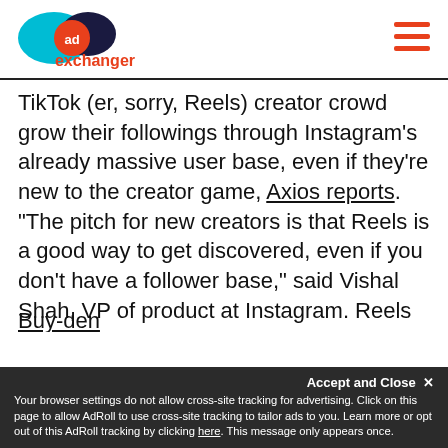AdExchanger logo and navigation
TikTok (er, sorry, Reels) creator crowd grow their followings through Instagram’s already massive user base, even if they’re new to the creator game, Axios reports. “The pitch for new creators is that Reels is a good way to get discovered, even if you don’t have a follower base,” said Vishal Shah, VP of product at Instagram. Reels launches as TikTok faces an uncertain future. There’s also growing competition in the space from upstarts, including Triller, and from the more established platforms, such as Snap, making moves into short-form video features a la Tiktok.
Buy-den
Your browser settings do not allow cross-site tracking for advertising. Click on this page to allow AdRoll to use cross-site tracking to tailor ads to you. Learn more or opt out of this AdRoll tracking by clicking here. This message only appears once.